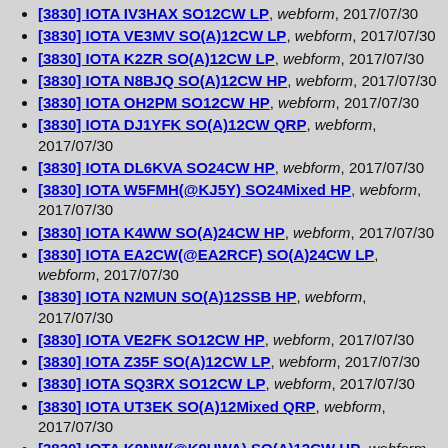[3830] IOTA IV3HAX SO12CW LP, webform, 2017/07/30
[3830] IOTA VE3MV SO(A)12CW LP, webform, 2017/07/30
[3830] IOTA K2ZR SO(A)12CW LP, webform, 2017/07/30
[3830] IOTA N8BJQ SO(A)12CW HP, webform, 2017/07/30
[3830] IOTA OH2PM SO12CW HP, webform, 2017/07/30
[3830] IOTA DJ1YFK SO(A)12CW QRP, webform, 2017/07/30
[3830] IOTA DL6KVA SO24CW HP, webform, 2017/07/30
[3830] IOTA W5FMH(@KJ5Y) SO24Mixed HP, webform, 2017/07/30
[3830] IOTA K4WW SO(A)24CW HP, webform, 2017/07/30
[3830] IOTA EA2CW(@EA2RCF) SO(A)24CW LP, webform, 2017/07/30
[3830] IOTA N2MUN SO(A)12SSB HP, webform, 2017/07/30
[3830] IOTA VE2FK SO12CW HP, webform, 2017/07/30
[3830] IOTA Z35F SO(A)12CW LP, webform, 2017/07/30
[3830] IOTA SQ3RX SO12CW LP, webform, 2017/07/30
[3830] IOTA UT3EK SO(A)12Mixed QRP, webform, 2017/07/30
[3830] IOTA K9NW(@K9UWA) SO(A)12CW HP, webform, 2017/07/30
[3830] IOTA YL5T(YL3DQ) SO12CW HP, webform,